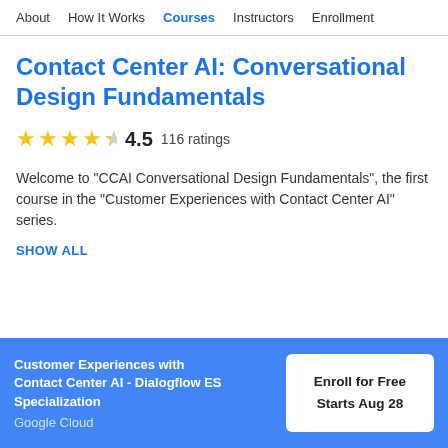About  How It Works  Courses  Instructors  Enrollment
Contact Center AI: Conversational Design Fundamentals
★★★★½  4.5  116 ratings
Welcome to "CCAI Conversational Design Fundamentals", the first course in the "Customer Experiences with Contact Center AI" series.
SHOW ALL
Customer Experiences with Contact Center AI - Dialogflow ES Specialization
Google Cloud
Enroll for Free
Starts Aug 28